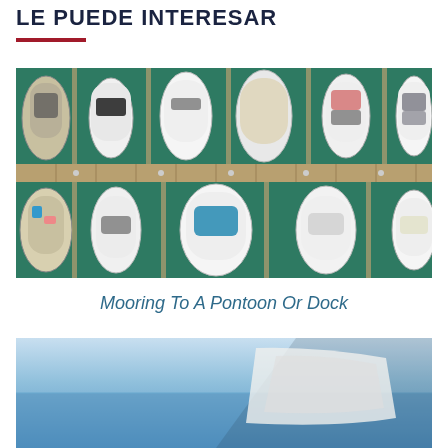LE PUEDE INTERESAR
[Figure (photo): Aerial view of boats moored at a marina dock, seen from above. Two rows of white boats arranged symmetrically on either side of a central pier over teal/dark green water.]
Mooring To A Pontoon Or Dock
[Figure (photo): Partial view of a boat on blue water, partially cropped at the bottom of the page.]